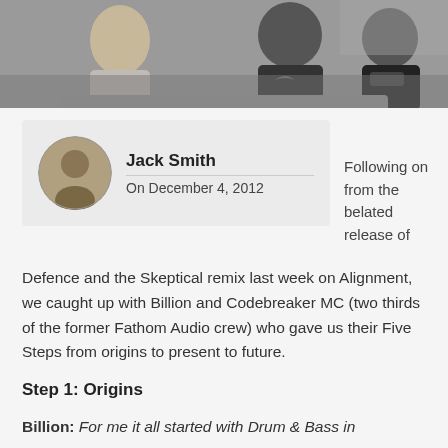[Figure (photo): Photo of two people sitting, one wearing a black shirt with wings logo, the other wearing a black shirt with Saloon Audio branding]
[Figure (photo): Circular avatar portrait of Jack Smith, a black and white or sepia-toned photo of a young man]
Jack Smith
On December 4, 2012
Following on from the belated release of Defence and the Skeptical remix last week on Alignment, we caught up with Billion and Codebreaker MC (two thirds of the former Fathom Audio crew) who gave us their Five Steps from origins to present to future.
Step 1: Origins
Billion: For me it all started with Drum & Bass in Vision Circle...